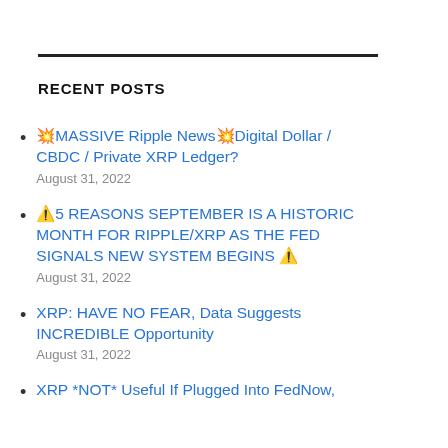RECENT POSTS
💥MASSIVE Ripple News💥Digital Dollar / CBDC / Private XRP Ledger?
⚠️5 REASONS SEPTEMBER IS A HISTORIC MONTH FOR RIPPLE/XRP AS THE FED SIGNALS NEW SYSTEM BEGINS ⚠️
XRP: HAVE NO FEAR, Data Suggests INCREDIBLE Opportunity
XRP *NOT* Useful If Plugged Into FedNow,